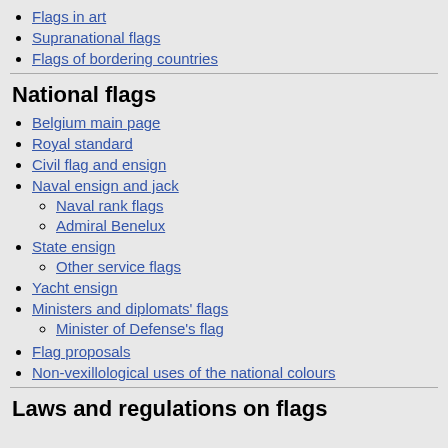Flags in art
Supranational flags
Flags of bordering countries
National flags
Belgium main page
Royal standard
Civil flag and ensign
Naval ensign and jack
Naval rank flags
Admiral Benelux
State ensign
Other service flags
Yacht ensign
Ministers and diplomats' flags
Minister of Defense's flag
Flag proposals
Non-vexillological uses of the national colours
Laws and regulations on flags